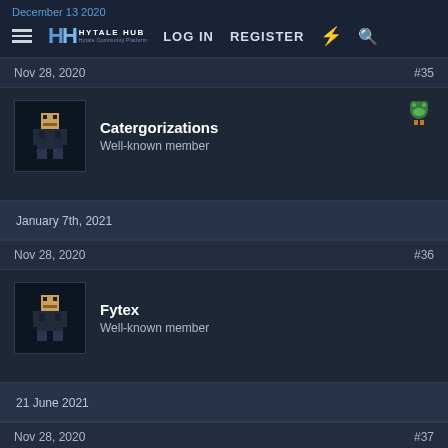December 13 2020 | HYTALE HUB | LOG IN | REGISTER
Nov 28, 2020 #35
Catergorizations
Well-known member
January 7th, 2021
Nov 28, 2020 #36
Fytex
Well-known member
21 June 2021
Nov 28, 2020 #37